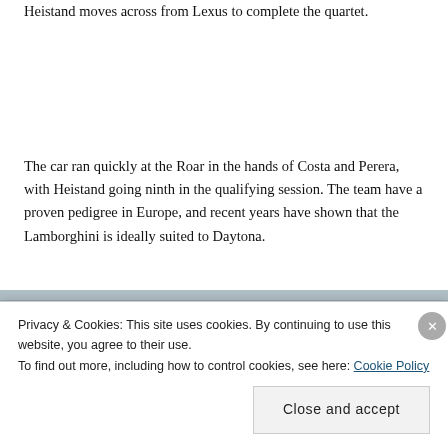Heistand moves across from Lexus to complete the quartet.
The car ran quickly at the Roar in the hands of Costa and Perera, with Heistand going ninth in the qualifying session. The team have a proven pedigree in Europe, and recent years have shown that the Lamborghini is ideally suited to Daytona.
[Figure (photo): A green Lamborghini racing car on track at Daytona, photographed near the pit wall with blue and white striped barriers visible and spectators in the background.]
Privacy & Cookies: This site uses cookies. By continuing to use this website, you agree to their use.
To find out more, including how to control cookies, see here: Cookie Policy
Close and accept